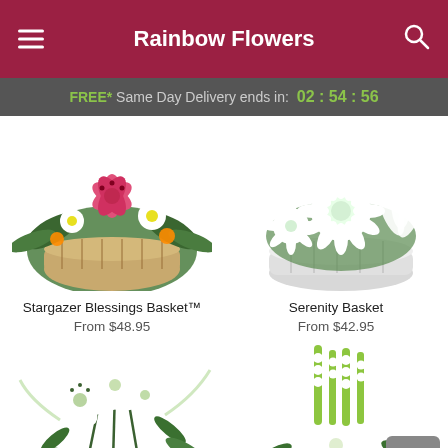Rainbow Flowers
FREE* Same Day Delivery ends in: 02 : 54 : 56
[Figure (photo): Stargazer Blessings Basket with pink stargazer lilies and white flowers in a wicker basket]
Stargazer Blessings Basket™
From $48.95
[Figure (photo): Serenity Basket with white chrysanthemums and lilies in a white wicker basket]
Serenity Basket
From $42.95
[Figure (photo): White lily bouquet arrangement with large white oriental lilies]
[Figure (photo): White floral arrangement with snapdragons, gerbera daisies and greenery]